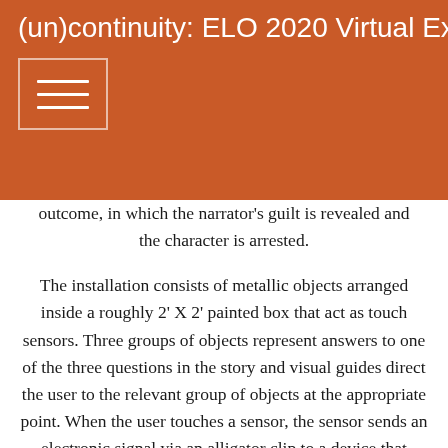(un)continuity: ELO 2020 Virtual Exhibition
outcome, in which the narrator's guilt is revealed and the character is arrested.
The installation consists of metallic objects arranged inside a roughly 2' X 2' painted box that act as touch sensors. Three groups of objects represent answers to one of the three questions in the story and visual guides direct the user to the relevant group of objects at the appropriate point. When the user touches a sensor, the sensor sends an electronic signal via an alligator clip to a device that interprets these signals as keyboard presses on a laptop. This laptop runs custom software that plays the game's audio and handles the game's logic. The audio is output via small speakers sitting next to the installation.